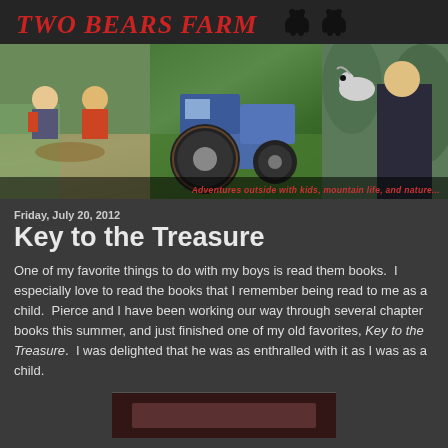TWO BEARS FARM
[Figure (photo): Blog header with three photos: two boys playing on ground, a blue tractor in a field, and a boy holding a small animal. Two bear silhouettes above. Red tagline text below images.]
Friday, July 20, 2012
Key to the Treasure
One of my favorite things to do with my boys is read them books.  I especially love to read the books that I remember being read to me as a child.  Pierce and I have been working our way through several chapter books this summer, and just finished one of my old favorites, Key to the Treasure.  I was delighted that he was as enthralled with it as I was as a child.
[Figure (photo): Bottom partial image showing a dark reddish-brown background, partially visible]